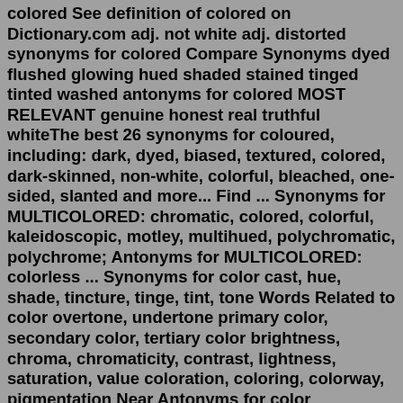colored See definition of colored on Dictionary.com adj. not white adj. distorted synonyms for colored Compare Synonyms dyed flushed glowing hued shaded stained tinged tinted washed antonyms for colored MOST RELEVANT genuine honest real truthful whiteThe best 26 synonyms for coloured, including: dark, dyed, biased, textured, colored, dark-skinned, non-white, colorful, bleached, one-sided, slanted and more... Find ... Synonyms for MULTICOLORED: chromatic, colored, colorful, kaleidoscopic, motley, multihued, polychromatic, polychrome; Antonyms for MULTICOLORED: colorless ... Synonyms for color cast, hue, shade, tincture, tinge, tint, tone Words Related to color overtone, undertone primary color, secondary color, tertiary color brightness, chroma, chromaticity, contrast, lightness, saturation, value coloration, coloring, colorway, pigmentation Near Antonyms for color achromatismFind 41 ways to say COLORED, along with antonyms, related words, and example